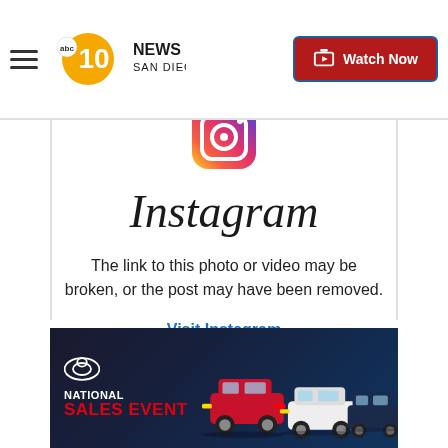ABC 10News San Diego — Watch Now
[Figure (logo): Instagram camera icon logo with gradient (yellow-orange-pink-purple)]
Instagram
The link to this photo or video may be broken, or the post may have been removed.
Visit Instagram
[Figure (photo): Toyota National Sales Event advertisement banner showing three Toyota SUVs on a grey background with Toyota logo and text NATIONAL SALES EVENT]